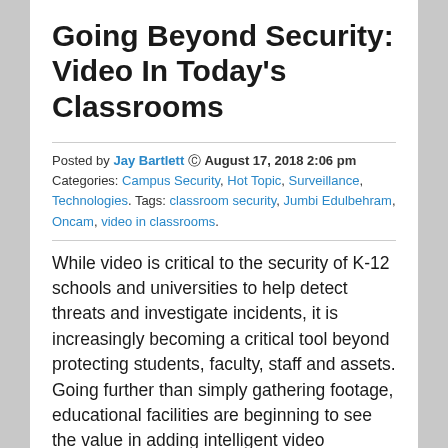Going Beyond Security: Video In Today’s Classrooms
Posted by Jay Bartlett ⓘ August 17, 2018 2:06 pm Categories: Campus Security, Hot Topic, Surveillance, Technologies. Tags: classroom security, Jumbi Edulbehram, Oncam, video in classrooms.
While video is critical to the security of K-12 schools and universities to help detect threats and investigate incidents, it is increasingly becoming a critical tool beyond protecting students, faculty, staff and assets. Going further than simply gathering footage, educational facilities are beginning to see the value in adding intelligent video software, such as analytics, to their arsenal. This results in an innovative approach to not only security,